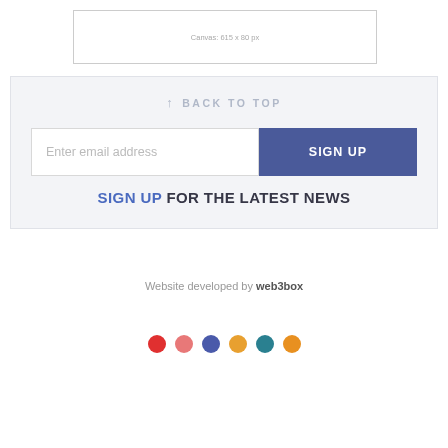[Figure (other): Banner placeholder showing canvas dimensions: 615 x 80 px]
↑   BACK TO TOP
Enter email address
SIGN UP
SIGN UP FOR THE LATEST NEWS
Website developed by web3box
[Figure (illustration): Six colored circles: red, salmon/pink, blue, yellow/orange, teal, orange]